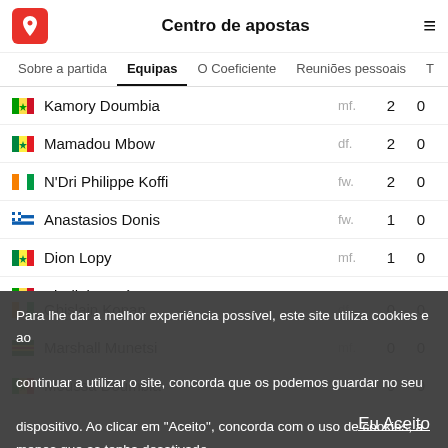Centro de apostas
Sobre a partida | Equipas | O Coeficiente | Reuniões pessoais
|  | Player | Pos | Stat1 | Stat2 |
| --- | --- | --- | --- | --- |
| 🇲🇱 | Kamory Doumbia | mf. | 2 | 0 |
| 🇸🇳 | Mamadou Mbow | df. | 2 | 0 |
| 🇨🇮 | N'Dri Philippe Koffi | fw. | 2 | 0 |
| 🇬🇷 | Anastasios Donis | fw. | 1 | 0 |
| 🇸🇳 | Dion Lopy | mf. | 1 | 0 |
| 🇲🇱 | El Bilal Touré | fw. | 1 | 0 |
| 🇽🇰 | Valon Berisha | mf. | 1 | 0 |
| 🇨🇮 | Ghislain Konan | df. | 0 | 0 |
| 🇿🇼 | Marshall Munetsi | mf. | 0 | 0 |
| 🇲🇱 | Moussa Doumbia | mf. | 0 | 0 |
Para lhe dar a melhor experiência possível, este site utiliza cookies e ao continuar a utilizar o site, concorda que os podemos guardar no seu dispositivo. Ao clicar em "Aceito", concorda com o uso de cookies, a menos que as tenha desativado.
Eu Aceito